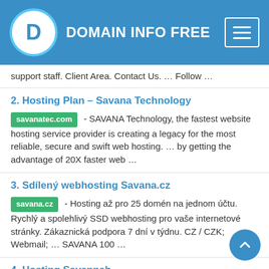DOMAIN INFO FREE
support staff. Client Area. Contact Us. … Follow …
2. Hosting Plan – Savana Technology
savanatec.com - SAVANA Technology, the fastest website hosting service provider is creating a legacy for the most reliable, secure and swift web hosting. … by getting the advantage of 20X faster web …
3. Sdílený webhosting Savana.cz
savana.cz - Hosting až pro 25 domén na jednom účtu. Rychlý a spolehlivý SSD webhosting pro vaše internetové stránky. Zákaznická podpora 7 dní v týdnu. CZ / CZK; Webmail; … SAVANA 100 …
4. Hosting Savannah
hostingsavannah.com - The Savannah Cottages-#307 Welcome to our charming pink cottage nestled in the historic district of Savannah, GA! We are so excited to